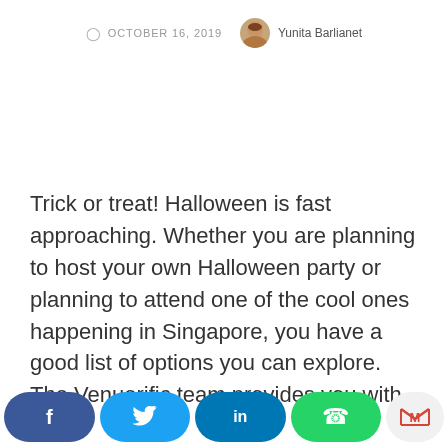OCTOBER 16, 2019   Yunita Barlianet
Trick or treat! Halloween is fast approaching. Whether you are planning to host your own Halloween party or planning to attend one of the cool ones happening in Singapore, you have a good list of options you can explore. The Venuerific team provides you with the
[Figure (infographic): Social sharing bar at bottom with Facebook (blue), Twitter (light blue), LinkedIn (dark blue), WhatsApp (green), and Gmail (light grey with red M) buttons]